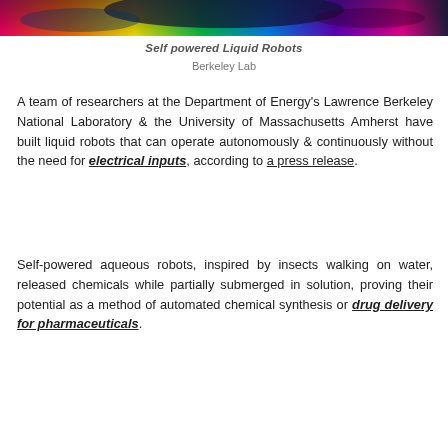[Figure (photo): Close-up colorful iridescent liquid surface, rainbow reflections on water, top portion visible]
Self powered Liquid Robots
Berkeley Lab
A team of researchers at the Department of Energy's Lawrence Berkeley National Laboratory & the University of Massachusetts Amherst have built liquid robots that can operate autonomously & continuously without the need for electrical inputs, according to a press release.
Self-powered aqueous robots, inspired by insects walking on water, released chemicals while partially submerged in solution, proving their potential as a method of automated chemical synthesis or drug delivery for pharmaceuticals.